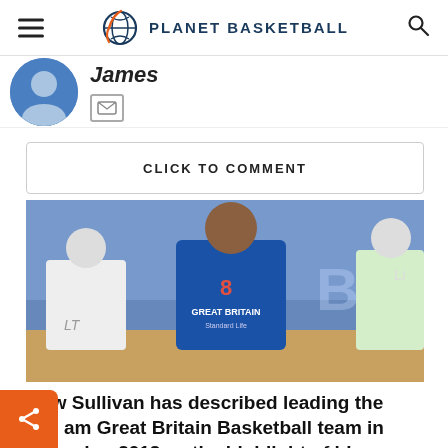PLANET BASKETBALL
James
CLICK TO COMMENT
[Figure (photo): Basketball player wearing Great Britain number 8 jersey and Standard Life sponsor, dribbling against opponents in a blue uniform during a game.]
Drew Sullivan has described leading the team Great Britain Basketball team in to London 2012 as the highlight of his